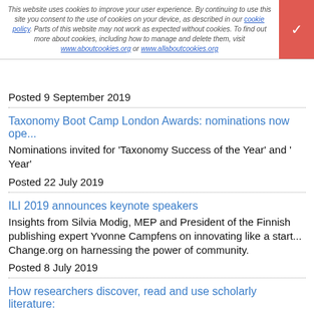This website uses cookies to improve your user experience. By continuing to use this site you consent to the use of cookies on your device, as described in our cookie policy. Parts of this website may not work as expected without cookies. To find out more about cookies, including how to manage and delete them, visit www.aboutcookies.org or www.allaboutcookies.org
Posted 9 September 2019
Taxonomy Boot Camp London Awards: nominations now open
Nominations invited for 'Taxonomy Success of the Year' and '... Year'
Posted 22 July 2019
ILI 2019 announces keynote speakers
Insights from Silvia Modig, MEP and President of the Finnish ... publishing expert Yvonne Campfens on innovating like a start... Change.org on harnessing the power of community.
Posted 8 July 2019
How researchers discover, read and use scholarly literature:
A new international study explores how researchers find and u... work and finds differences by age, discipline and geography.
Posted 29 April 2019